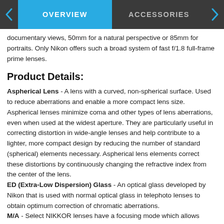OVERVIEW | ACCESSORIES
documentary views, 50mm for a natural perspective or 85mm for portraits. Only Nikon offers such a broad system of fast f/1.8 full-frame prime lenses.
Product Details:
Aspherical Lens - A lens with a curved, non-spherical surface. Used to reduce aberrations and enable a more compact lens size. Aspherical lenses minimize coma and other types of lens aberrations, even when used at the widest aperture. They are particularly useful in correcting distortion in wide-angle lenses and help contribute to a lighter, more compact design by reducing the number of standard (spherical) elements necessary. Aspherical lens elements correct these distortions by continuously changing the refractive index from the center of the lens.
ED (Extra-Low Dispersion) Glass - An optical glass developed by Nikon that is used with normal optical glass in telephoto lenses to obtain optimum correction of chromatic aberrations.
M/A - Select NIKKOR lenses have a focusing mode which allows switching from automatic to manual focusing with virtually no lag time by simply turning the focusing ring on the lens. This makes it possible to seamlessly switch to fine manual focusing while looking through the viewfinder.
Nano Crystal Coat - An anti-reflective coating developed by Nikon that...